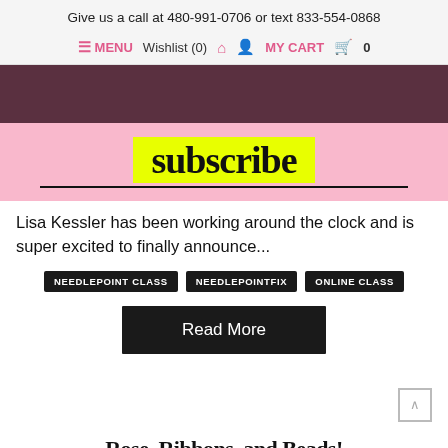Give us a call at 480-991-0706 or text 833-554-0868
≡ MENU   Wishlist (0)   🏠   👤   MY CART   🛒   0
[Figure (photo): Dark brownish-pink hero image with a pink lower section containing a yellow-highlighted 'subscribe' text in large serif font with an underline]
Lisa Kessler has been working around the clock and is super excited to finally announce...
NEEDLEPOINT CLASS
NEEDLEPOINTFIX
ONLINE CLASS
Read More
Rose, Ribbons, and Beads!